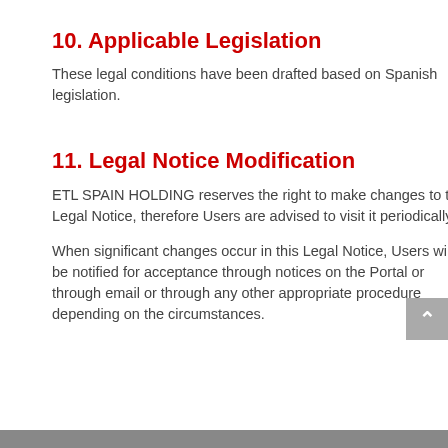10. Applicable Legislation
These legal conditions have been drafted based on Spanish legislation.
11. Legal Notice Modification
ETL SPAIN HOLDING reserves the right to make changes to this Legal Notice, therefore Users are advised to visit it periodically.
When significant changes occur in this Legal Notice, Users will be notified for acceptance through notices on the Portal or through email or through any other appropriate procedure depending on the circumstances.